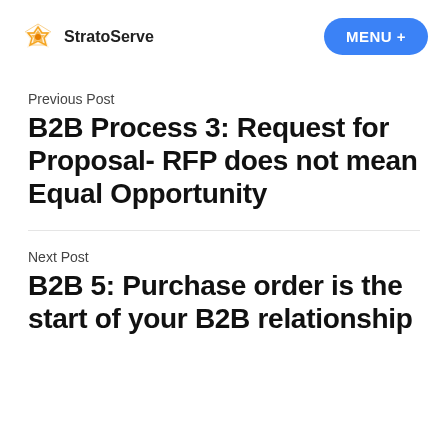StratoServe  MENU +
Previous Post
B2B Process 3: Request for Proposal- RFP does not mean Equal Opportunity
Next Post
B2B 5: Purchase order is the start of your B2B relationship